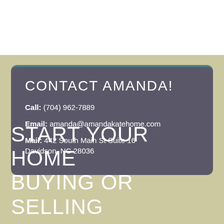CONTACT AMANDA!
Call: (704) 962-7889
Email: amanda@amandakatehome.com
Mail: 442 South Main St Suite 16 Davidson, NC 28036
START YOUR HOME BUYING OR SELLING